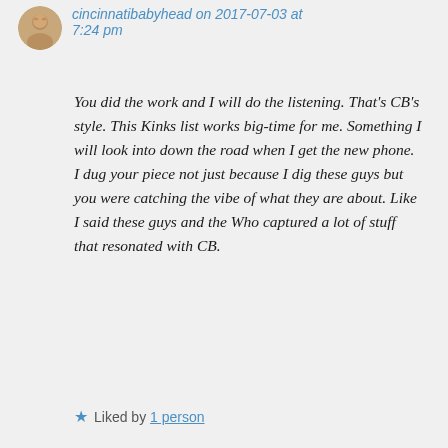cincinnatibabyhead on 2017-07-03 at 7:24 pm
You did the work and I will do the listening. That’s CB’s style. This Kinks list works big-time for me. Something I will look into down the road when I get the new phone. I dug your piece not just because I dig these guys but you were catching the vibe of what they are about. Like I said these guys and the Who captured a lot of stuff that resonated with CB.
★ Liked by 1 person